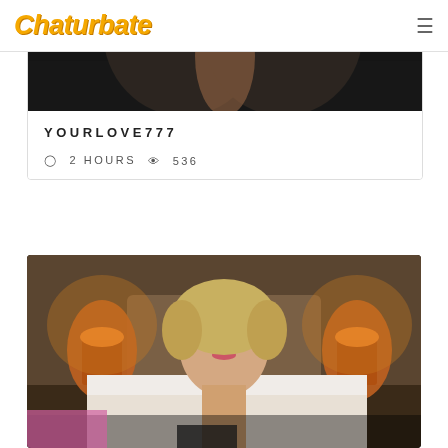Chaturbate
[Figure (photo): Webcam stream thumbnail showing partial view of a person in a black top against a dark/grey background]
YOURLOVE777
2 HOURS   536
[Figure (photo): Webcam stream thumbnail showing a young blonde woman with curly hair in a bedroom with warm-lit lamps on either side]